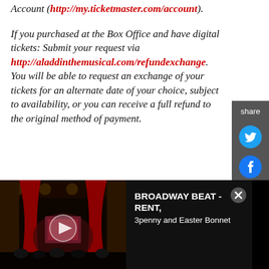Account (http://my.ticketmaster.com/account).
If you purchased at the Box Office and have digital tickets: Submit your request via http://aladdinthemusical.com/refundexchange. You will be able to request an exchange of your tickets for an alternate date of your choice, subject to availability, or you can receive a full refund to the original method of payment.
[Figure (screenshot): Dark vertical share sidebar with Twitter and Facebook icons]
[Figure (screenshot): Video advertisement strip showing a Broadway theatre scene with play button overlay. Text reads: BROADWAY BEAT - RENT, 3penny and Easter Bonnet]